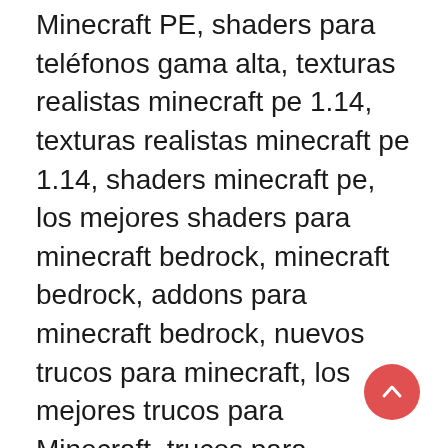Minecraft PE, shaders para teléfonos gama alta, texturas realistas minecraft pe 1.14, texturas realistas minecraft pe 1.14, shaders minecraft pe, los mejores shaders para minecraft bedrock, minecraft bedrock, addons para minecraft bedrock, nuevos trucos para minecraft, los mejores trucos para Minecraft, trucos para Minecraft PE, escondites para Minecraft, shaders de Karmaland 4, shaders de Karmaland 4 para Minecraft PE, shaders de Karmaland 4 para Windows 10, minecraft pe realista, mapa de Karmaland 1 para minecraft pe, mapa de Karmaland 2 para minecraft pe, mapa de Karmaland 3 para minecraft pe, mapa de Karmaland 4 para minecraft pe, addons survival, addons para survival, los mejores addons para